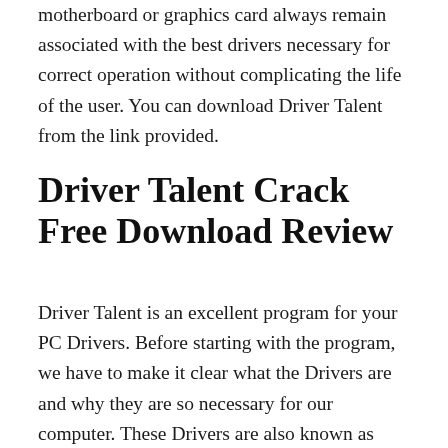motherboard or graphics card always remain associated with the best drivers necessary for correct operation without complicating the life of the user. You can download Driver Talent from the link provided.
Driver Talent Crack Free Download Review
Driver Talent is an excellent program for your PC Drivers. Before starting with the program, we have to make it clear what the Drivers are and why they are so necessary for our computer. These Drivers are also known as drivers, which are nothing more than programs that work as a connection. This connection is between the operating system of our PCs, both